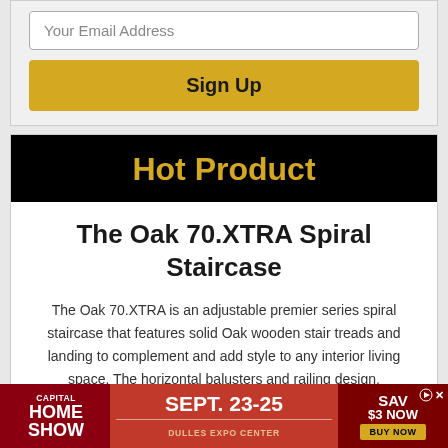Your Email Address
Sign Up
Hot Product
The Oak 70.XTRA Spiral Staircase
The Oak 70.XTRA is an adjustable premier series spiral staircase that features solid Oak wooden stair treads and landing to complement and add style to any interior living space. The horizontal balusters and railing design, surrounding the full length of the staircase, is visually unique when
[Figure (infographic): Capital Home Show advertisement banner: SEPT. 23-25, DULLES EXPO CENTER, SAVE $3 NOW, BUY NOW button]